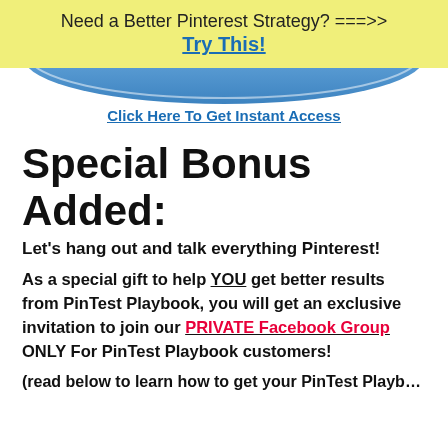Need a Better Pinterest Strategy? ===>> Try This!
[Figure (illustration): Partial blue circular graphic/button at top of white content area]
Click Here To Get Instant Access
Special Bonus Added:
Let's hang out and talk everything Pinterest!
As a special gift to help YOU get better results from PinTest Playbook, you will get an exclusive invitation to join our PRIVATE Facebook Group ONLY For PinTest Playbook customers!
(read below to learn how to get your PinTest Playbook)